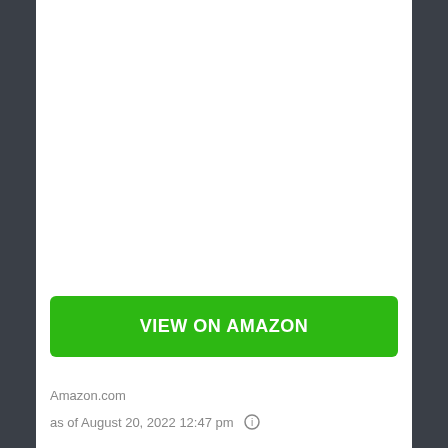[Figure (other): Green 'VIEW ON AMAZON' button with rounded corners on white background]
Amazon.com
as of August 20, 2022 12:47 pm ℹ